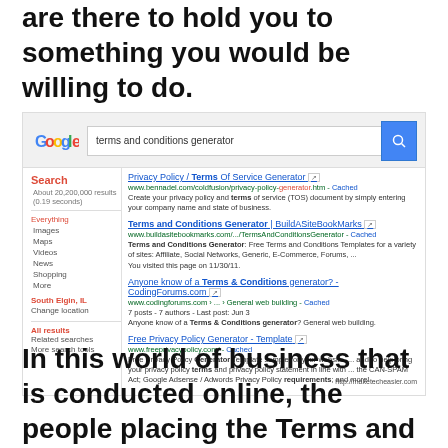are there to hold you to something you would be willing to do.
[Figure (screenshot): Google search results page for 'terms and conditions generator' showing search bar with Google logo, left panel with filters (Everything, Images, Maps, Videos, News, Shopping, More, South Elgin IL, Change location, All results, Related searches, More search tools), and right panel with 4 search results including Privacy Policy / Terms Of Service Generator from bennadel.com, Terms and Conditions Generator from buildasitebookmarks.com, Anyone know of a Terms & Conditions generator? from codingforums.com, and Free Privacy Policy Generator - Template from freeprivacypolicy.com, with a watermark http://maketecheasier.com]
In this world of business that is conducted online, the people placing the Terms and